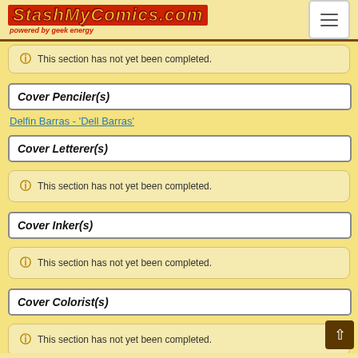StashMyComics.com powered by geek energy
This section has not yet been completed.
Cover Penciler(s)
Delfin Barras - 'Dell Barras'
Cover Letterer(s)
This section has not yet been completed.
Cover Inker(s)
This section has not yet been completed.
Cover Colorist(s)
This section has not yet been completed.
Editor(s)